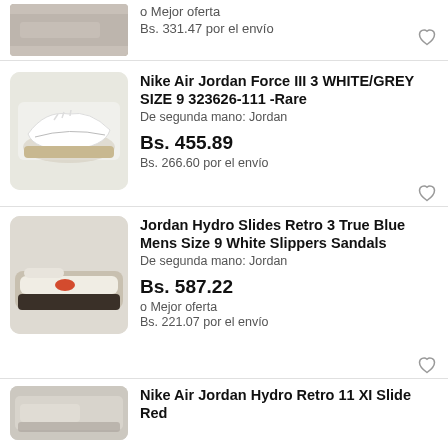[Figure (photo): Partial view of a shoe product image, top cropped]
o Mejor oferta
Bs. 331.47 por el envío
[Figure (photo): White Nike Air Jordan Force III 3 sneakers]
Nike Air Jordan Force III 3 WHITE/GREY SIZE 9 323626-111 -Rare
De segunda mano: Jordan
Bs. 455.89
Bs. 266.60 por el envío
[Figure (photo): White Jordan Hydro Slides sandals]
Jordan Hydro Slides Retro 3 True Blue Mens Size 9 White Slippers Sandals
De segunda mano: Jordan
Bs. 587.22
o Mejor oferta
Bs. 221.07 por el envío
[Figure (photo): Partial view of Nike Air Jordan Hydro Retro 11 XI Slide Red product]
Nike Air Jordan Hydro Retro 11 XI Slide Red